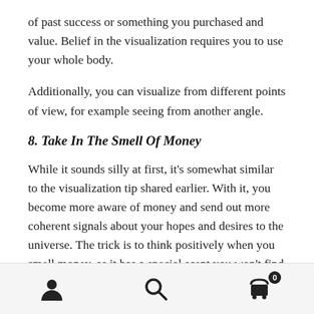of past success or something you purchased and value. Belief in the visualization requires you to use your whole body.
Additionally, you can visualize from different points of view, for example seeing from another angle.
8. Take In The Smell Of Money
While it sounds silly at first, it's somewhat similar to the visualization tip shared earlier. With it, you become more aware of money and send out more coherent signals about your hopes and desires to the universe. The trick is to think positively when you smell money, as it has a special scent you won't find anywhere else.
Navigation bar with user, search, and cart icons